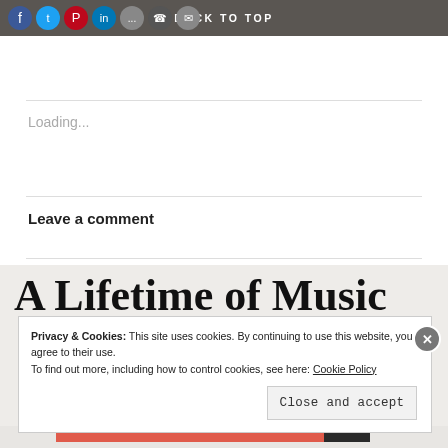[Figure (screenshot): Top dark navigation bar with social media icons (Facebook, Twitter, Pinterest, LinkedIn, and others) on the left, and BACK TO TOP text centered]
Loading...
Leave a comment
A Lifetime of Music
Privacy & Cookies: This site uses cookies. By continuing to use this website, you agree to their use.
To find out more, including how to control cookies, see here: Cookie Policy
Close and accept